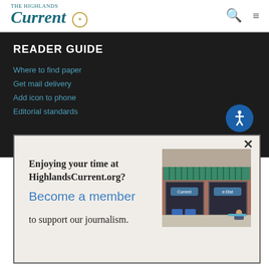The Highlands Current [logo with badge]
READER GUIDE
Where to find paper
Get mail delivery
Add icon to phone
Editorial standards
Enjoying your time at HighlandsCurrent.org? Become a member to support our journalism.
[Figure (photo): Storefront of The Highlands Current newspaper office with green awning, display windows, and newspaper boxes out front.]